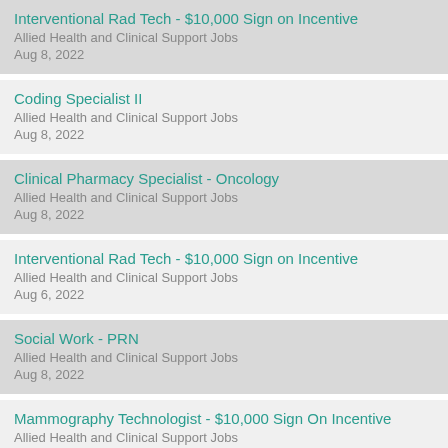Interventional Rad Tech - $10,000 Sign on Incentive
Allied Health and Clinical Support Jobs
Aug 8, 2022
Coding Specialist II
Allied Health and Clinical Support Jobs
Aug 8, 2022
Clinical Pharmacy Specialist - Oncology
Allied Health and Clinical Support Jobs
Aug 8, 2022
Interventional Rad Tech - $10,000 Sign on Incentive
Allied Health and Clinical Support Jobs
Aug 6, 2022
Social Work - PRN
Allied Health and Clinical Support Jobs
Aug 8, 2022
Mammography Technologist - $10,000 Sign On Incentive
Allied Health and Clinical Support Jobs